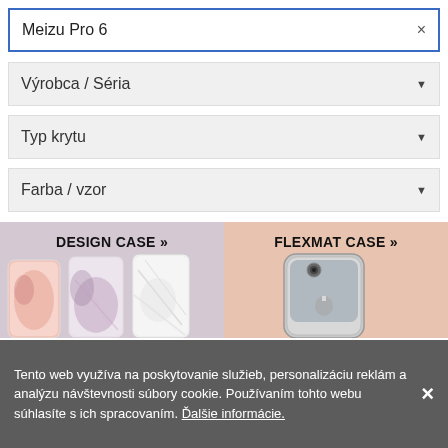Meizu Pro 6 ×
Výrobca / Séria ▼
Typ krytu ▼
Farba / vzor ▼
[Figure (screenshot): Banner split into two halves: left side with lavender/purple background showing 'DESIGN CASE »' and decorative marble phone cases; right side with peach/salmon background showing 'FLEXMAT CASE »' and a clear transparent phone case on a smartphone.]
Tento web využíva na poskytovanie služieb, personalizáciu reklám a analýzu návštevnosti súbory cookie. Používaním tohto webu súhlasíte s ich spracovaním. Ďalšie informácie. ×